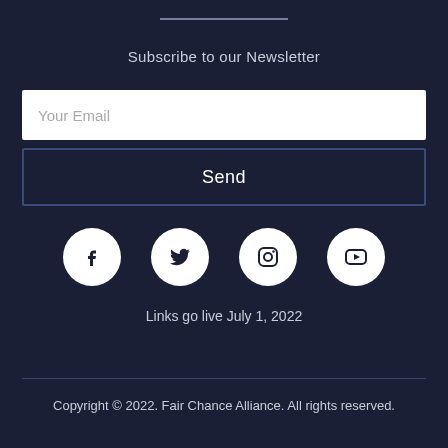Subscribe to our Newsletter
Your Email
Send
[Figure (illustration): Four social media icons (Facebook, Twitter, Instagram, YouTube) displayed as white circles on dark background]
Links go live July 1, 2022
Copyright © 2022. Fair Chance Alliance. All rights reserved.